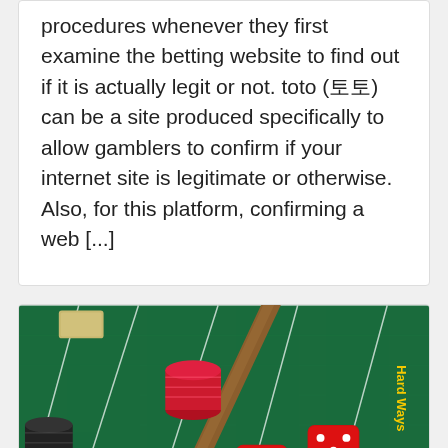procedures whenever they first examine the betting website to find out if it is actually legit or not. toto (토토) can be a site produced specifically to allow gamblers to confirm if your internet site is legitimate or otherwise. Also, for this platform, confirming a web [...]
[Figure (photo): Close-up photo of a craps casino table with green felt, red dice, poker chips (red, green, black), and a wooden dealer stick. Numbers and markings visible on the table.]